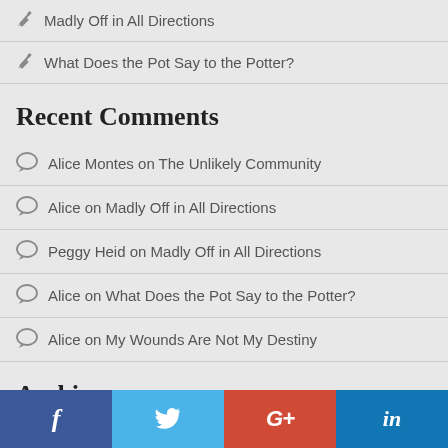Madly Off in All Directions
What Does the Pot Say to the Potter?
Recent Comments
Alice Montes on The Unlikely Community
Alice on Madly Off in All Directions
Peggy Heid on Madly Off in All Directions
Alice on What Does the Pot Say to the Potter?
Alice on My Wounds Are Not My Destiny
Archives
July 2019
June 2019